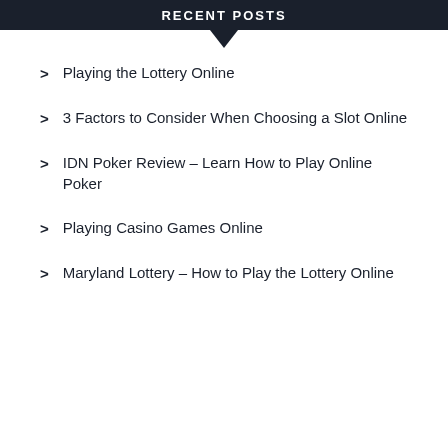Recent Posts
Playing the Lottery Online
3 Factors to Consider When Choosing a Slot Online
IDN Poker Review – Learn How to Play Online Poker
Playing Casino Games Online
Maryland Lottery – How to Play the Lottery Online